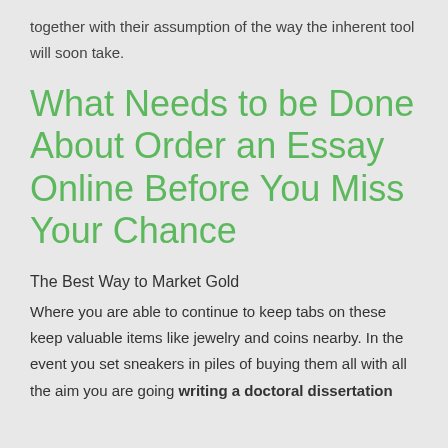together with their assumption of the way the inherent tool will soon take.
What Needs to be Done About Order an Essay Online Before You Miss Your Chance
The Best Way to Market Gold
Where you are able to continue to keep tabs on these keep valuable items like jewelry and coins nearby. In the event you set sneakers in piles of buying them all with all the aim you are going writing a doctoral dissertation